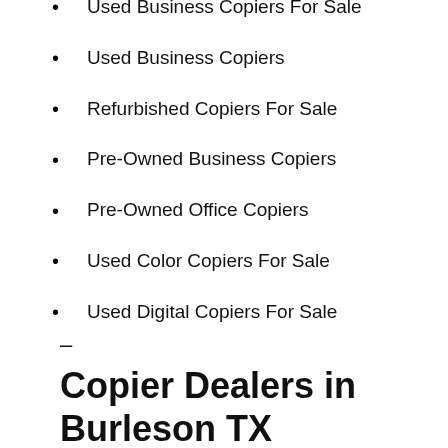Used Business Copiers For Sale
Used Business Copiers
Refurbished Copiers For Sale
Pre-Owned Business Copiers
Pre-Owned Office Copiers
Used Color Copiers For Sale
Used Digital Copiers For Sale
–
Copier Dealers in Burleson TX